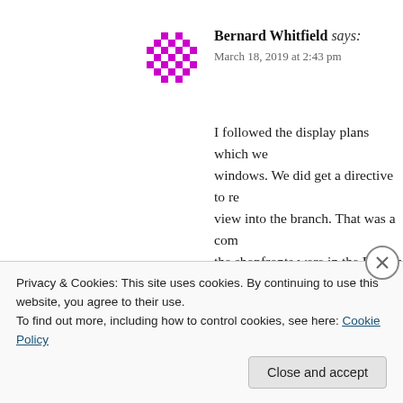[Figure (illustration): Magenta/purple pixel-art style avatar icon for user Bernard Whitfield]
Bernard Whitfield says:
March 18, 2019 at 2:43 pm
I followed the display plans which we windows. We did get a directive to re view into the branch. That was a com the shopfronts were in the Branch I st originally had a shopfront dating fron blocking the view through the entranc were both around 12 ft wide by aroun they were completely full front to bac the Area Manager insisting a cap bein the window had. Every item of st
Privacy & Cookies: This site uses cookies. By continuing to use this website, you agree to their use.
To find out more, including how to control cookies, see here: Cookie Policy
Close and accept